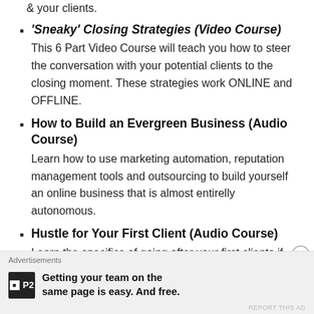& your clients.
'Sneaky' Closing Strategies (Video Course) — This 6 Part Video Course will teach you how to steer the conversation with your potential clients to the closing moment. These strategies work ONLINE and OFFLINE.
How to Build an Evergreen Business (Audio Course) — Learn how to use marketing automation, reputation management tools and outsourcing to build yourself an online business that is almost entirelly autonomous.
Hustle for Your First Client (Audio Course) — Learn the specifics of going after your first clients if
Advertisements
Getting your team on the same page is easy. And free.